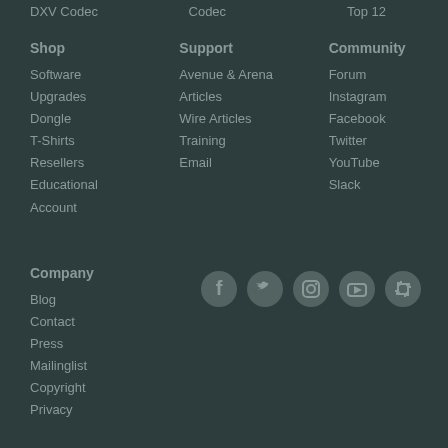DXV Codec
Codec
Top 12
Shop
Software
Upgrades
Dongle
T-Shirts
Resellers
Educational
Account
Support
Avenue & Arena
Articles
Wire Articles
Training
Email
Community
Forum
Instagram
Facebook
Twitter
YouTube
Slack
Company
Blog
Contact
Press
Mailinglist
Copyright
Privacy
[Figure (illustration): Social media icons: Facebook, Twitter, Instagram, YouTube, Slack]